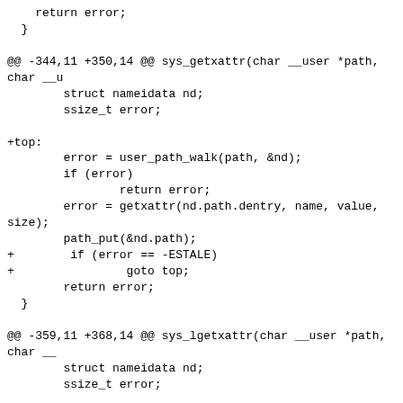return error;
  }

@@ -344,11 +350,14 @@ sys_getxattr(char __user *path, char __u
        struct nameidata nd;
        ssize_t error;

+top:
        error = user_path_walk(path, &nd);
        if (error)
                return error;
        error = getxattr(nd.path.dentry, name, value, size);
        path_put(&nd.path);
+        if (error == -ESTALE)
+                goto top;
        return error;
  }

@@ -359,11 +368,14 @@ sys_lgetxattr(char __user *path, char __
        struct nameidata nd;
        ssize_t error;

+top:
        error = user_path_walk_link(path, &nd);
        if (error)
                return error;
        error = getxattr(nd.path.dentry, name, value,